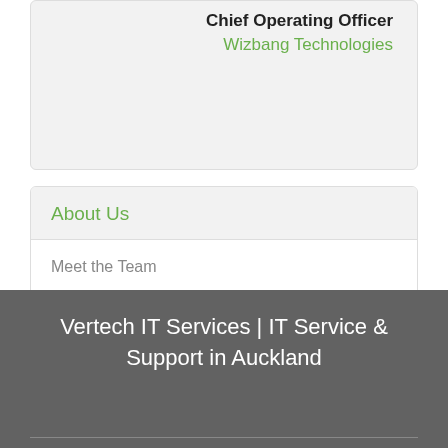Chief Operating Officer
Wizbang Technologies
About Us
Meet the Team
Newsletters
Vertech IT Services | IT Service & Support in Auckland